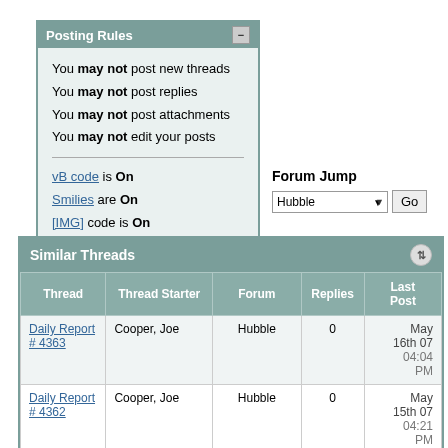Posting Rules
You may not post new threads
You may not post replies
You may not post attachments
You may not edit your posts
vB code is On
Smilies are On
[IMG] code is On
HTML code is Off
Forum Jump
Hubble
Similar Threads
| Thread | Thread Starter | Forum | Replies | Last Post |
| --- | --- | --- | --- | --- |
| Daily Report # 4363 | Cooper, Joe | Hubble | 0 | May 16th 07 04:04 PM |
| Daily Report # 4362 | Cooper, Joe | Hubble | 0 | May 15th 07 04:21 PM |
| ASTRO: NGC 4564, NGC | Rick Johnson[ 2 ] | Astro Pictures | 2 | May 2nd 07 |